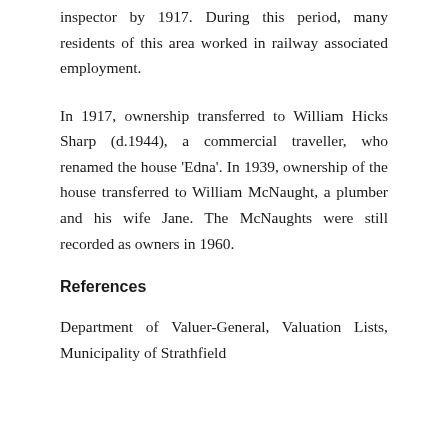inspector by 1917.  During this period, many residents of this area worked in railway associated employment.
In 1917, ownership transferred to William Hicks Sharp (d.1944), a commercial traveller, who renamed the house ‘Edna’.  In 1939, ownership of the house transferred to William McNaught, a plumber and his wife Jane.  The McNaughts were still recorded as owners in 1960.
References
Department of Valuer-General, Valuation Lists, Municipality of Strathfield